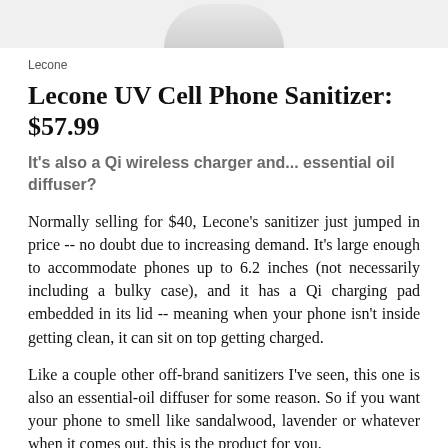[Figure (photo): Partial product image of a white UV cell phone sanitizer device, shown from above, cropped at the top of the page.]
Lecone
Lecone UV Cell Phone Sanitizer: $57.99
It's also a Qi wireless charger and... essential oil diffuser?
Normally selling for $40, Lecone's sanitizer just jumped in price -- no doubt due to increasing demand. It's large enough to accommodate phones up to 6.2 inches (not necessarily including a bulky case), and it has a Qi charging pad embedded in its lid -- meaning when your phone isn't inside getting clean, it can sit on top getting charged.
Like a couple other off-brand sanitizers I've seen, this one is also an essential-oil diffuser for some reason. So if you want your phone to smell like sandalwood, lavender or whatever when it comes out, this is the product for you.